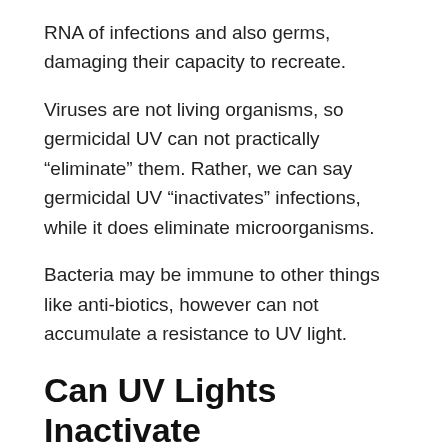RNA of infections and also germs, damaging their capacity to recreate.
Viruses are not living organisms, so germicidal UV can not practically “eliminate” them. Rather, we can say germicidal UV “inactivates” infections, while it does eliminate microorganisms.
Bacteria may be immune to other things like anti-biotics, however can not accumulate a resistance to UV light.
Can UV Lights Inactivate COVID-19?
Screening is extremely limited however is currently recurring since this is a novel (or brand-new) coronavirus. The